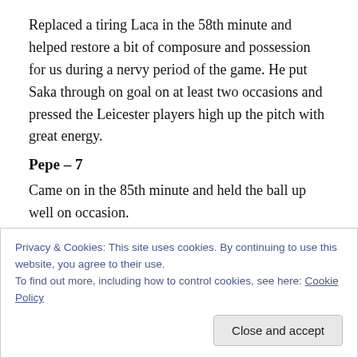Replaced a tiring Laca in the 58th minute and helped restore a bit of composure and possession for us during a nervy period of the game. He put Saka through on goal on at least two occasions and pressed the Leicester players high up the pitch with great energy.
Pepe – 7
Came on in the 85th minute and held the ball up well on occasion.
Kolasinac – N/A
Privacy & Cookies: This site uses cookies. By continuing to use this website, you agree to their use.
To find out more, including how to control cookies, see here: Cookie Policy